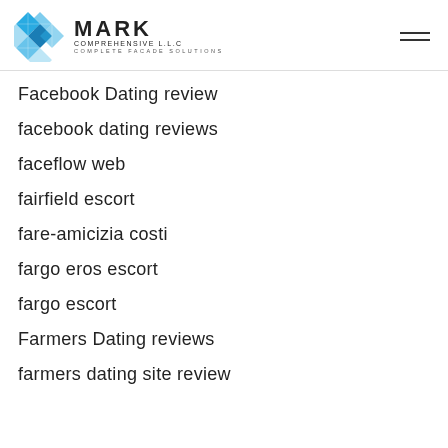[Figure (logo): Mark Comprehensive LLC logo with blue geometric icon, company name MARK in bold, subtitle COMPREHENSIVE L.L.C, tagline COMPLETE FACADE SOLUTIONS]
Facebook Dating review
facebook dating reviews
faceflow web
fairfield escort
fare-amicizia costi
fargo eros escort
fargo escort
Farmers Dating reviews
farmers dating site review